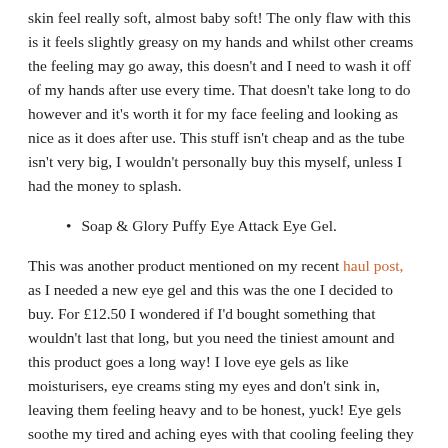skin feel really soft, almost baby soft! The only flaw with this is it feels slightly greasy on my hands and whilst other creams the feeling may go away, this doesn't and I need to wash it off of my hands after use every time. That doesn't take long to do however and it's worth it for my face feeling and looking as nice as it does after use. This stuff isn't cheap and as the tube isn't very big, I wouldn't personally buy this myself, unless I had the money to splash.
Soap & Glory Puffy Eye Attack Eye Gel.
This was another product mentioned on my recent haul post, as I needed a new eye gel and this was the one I decided to buy. For £12.50 I wondered if I'd bought something that wouldn't last that long, but you need the tiniest amount and this product goes a long way! I love eye gels as like moisturisers, eye creams sting my eyes and don't sink in, leaving them feeling heavy and to be honest, yuck! Eye gels soothe my tired and aching eyes with that cooling feeling they leave behind which wakes them up at the same time. This eye gel does just that, it relieved the ache and wakes them up! My eyes aren't that puffy to be honest, but